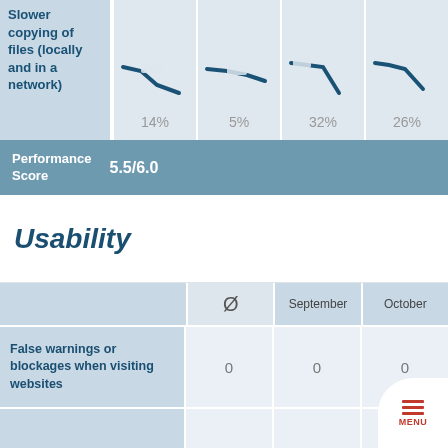Slower copying of files (locally and in a network)
[Figure (line-chart): Trend line showing decrease, 14%]
[Figure (line-chart): Trend line showing decrease, 5%]
[Figure (line-chart): Trend line showing steep decrease, 32%]
[Figure (line-chart): Trend line showing decrease, 26%]
|  | Ø | September | October |
| --- | --- | --- | --- |
| Performance Score | 5.5/6.0 |  |  |
Usability
|  | Ø | September | October |
| --- | --- | --- | --- |
| False warnings or blockages when visiting websites | 0 | 0 | 0 |